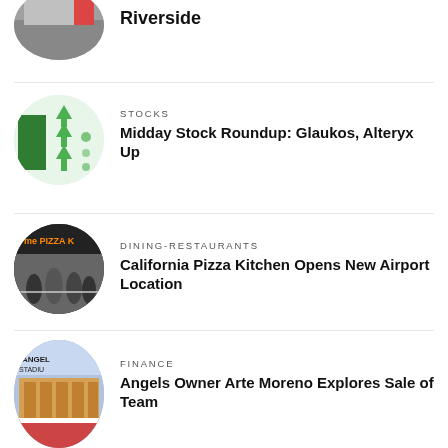[Figure (photo): Circular thumbnail photo of a street scene, partially cut off at top]
Riverside
[Figure (photo): Circular thumbnail of a stocks chart graphic with green upward arrows]
STOCKS
Midday Stock Roundup: Glaukos, Alteryx Up
[Figure (photo): Circular thumbnail of California Pizza Kitchen storefront with people at ribbon cutting]
DINING-RESTAURANTS
California Pizza Kitchen Opens New Airport Location
[Figure (photo): Circular thumbnail of Angel Stadium exterior]
FINANCE
Angels Owner Arte Moreno Explores Sale of Team